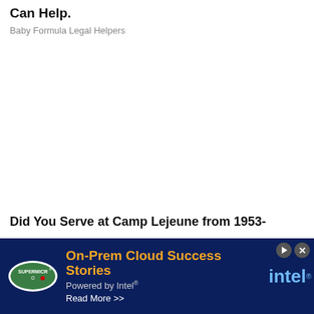Can Help.
Baby Formula Legal Helpers
Did You Serve at Camp Lejeune from 1953-
[Figure (infographic): Advertisement banner for Supermicro featuring text 'On-Prem Cloud Success Stories Powered by Intel® Read More >>' with Supermicro logo and Intel logo on dark blue background]